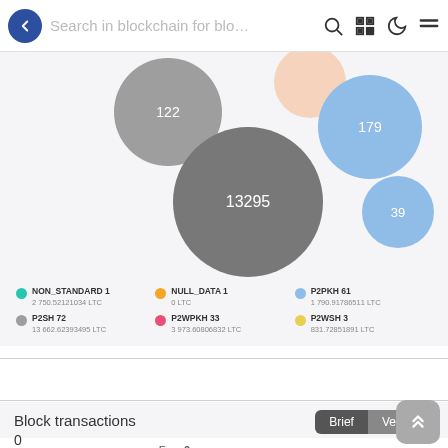[Figure (other): Blockchain explorer mobile app interface showing bubble chart of transaction types and block transactions section]
NON_STANDARD 1
2 750.52121034 LTC
NULL_DATA 1
0 LTC
P2PKH 61
1 790.91786511 LTC
P2SH 72
13 662.62393495 LTC
P2WPKH 33
3 973.60806832 LTC
P2WSH 3
831.72851891 LTC
Block transactions
0
coinbase   rbf   segwit   Fee: 0 LTC   0 s/vByte